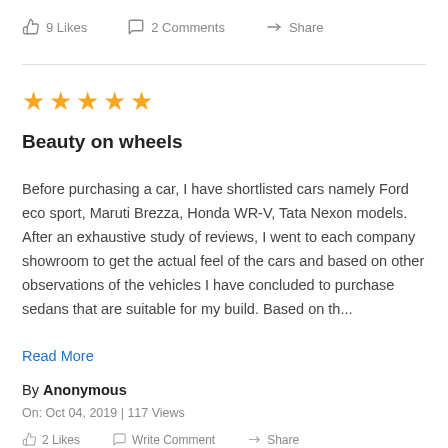9 Likes   2 Comments   Share
★★★★★
Beauty on wheels
Before purchasing a car, I have shortlisted cars namely Ford eco sport, Maruti Brezza, Honda WR-V, Tata Nexon models. After an exhaustive study of reviews, I went to each company showroom to get the actual feel of the cars and based on other observations of the vehicles I have concluded to purchase sedans that are suitable for my build. Based on th...
Read More
By Anonymous
On: Oct 04, 2019 | 117 Views
2 Likes   Write Comment   Share